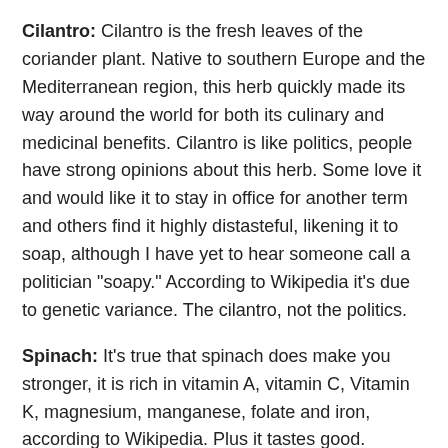Cilantro: Cilantro is the fresh leaves of the coriander plant. Native to southern Europe and the Mediterranean region, this herb quickly made its way around the world for both its culinary and medicinal benefits. Cilantro is like politics, people have strong opinions about this herb. Some love it and would like it to stay in office for another term and others find it highly distasteful, likening it to soap, although I have yet to hear someone call a politician "soapy." According to Wikipedia it's due to genetic variance. The cilantro, not the politics.
Spinach: It's true that spinach does make you stronger, it is rich in vitamin A, vitamin C, Vitamin K, magnesium, manganese, folate and iron, according to Wikipedia. Plus it tastes good.
Radishes: If the greens look good, they can used as a